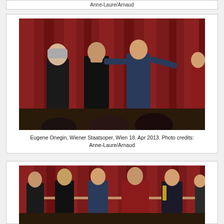Anne-Laure/Arnaud
[Figure (photo): Performance curtain call at Eugene Onegin, Wiener Staatsoper. Performers standing in front of red velvet curtain including a man with grey hair in black, a woman in black dress covering her face, a man in dark shirt with arms spread, and a partial figure on the right.]
Eugene Onegin, Wiener Staatsoper, Wien 18. Apr 2013. Photo credits: Anne-Laure/Arnaud
[Figure (photo): Curtain call at Eugene Onegin, Wiener Staatsoper. Five performers standing in a line holding hands in front of red velvet curtain: man in black suit, woman in black dress, man in blue shirt and grey pants, woman in red dress, man in embroidered jacket, and a partial figure on the right.]